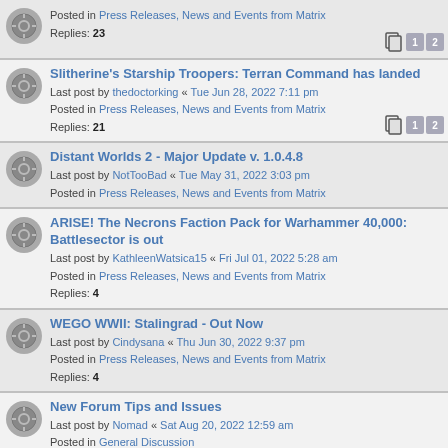Posted in Press Releases, News and Events from Matrix
Replies: 23
Slitherine's Starship Troopers: Terran Command has landed
Last post by thedoctorking « Tue Jun 28, 2022 7:11 pm
Posted in Press Releases, News and Events from Matrix
Replies: 21
Distant Worlds 2 - Major Update v. 1.0.4.8
Last post by NotTooBad « Tue May 31, 2022 3:03 pm
Posted in Press Releases, News and Events from Matrix
ARISE! The Necrons Faction Pack for Warhammer 40,000: Battlesector is out
Last post by KathleenWatsica15 « Fri Jul 01, 2022 5:28 am
Posted in Press Releases, News and Events from Matrix
Replies: 4
WEGO WWII: Stalingrad - Out Now
Last post by Cindysana « Thu Jun 30, 2022 9:37 pm
Posted in Press Releases, News and Events from Matrix
Replies: 4
New Forum Tips and Issues
Last post by Nomad « Sat Aug 20, 2022 12:59 am
Posted in General Discussion
Replies: 267
Topics
Combat Mission has its Official Discord Channel
Last post by Roby7979 « Tue Nov 23, 2021 6:45 am